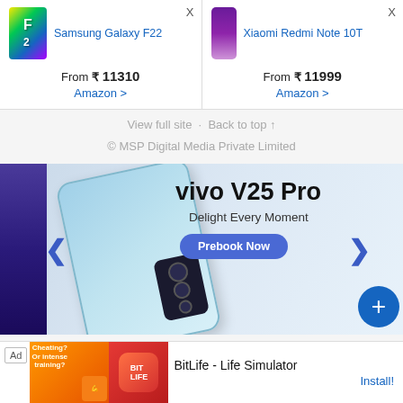[Figure (screenshot): Samsung Galaxy F22 product card with colorful phone image, showing price From ₹ 11310, Amazon link]
[Figure (screenshot): Xiaomi Redmi Note 10T product card with purple phone image, showing price From ₹ 11999, Amazon link]
View full site · Back to top ↑
© MSP Digital Media Private Limited
[Figure (photo): Vivo V25 Pro advertisement banner with phone image, tagline Delight Every Moment, Prebook Now button, left/right navigation arrows]
[Figure (screenshot): BitLife - Life Simulator ad banner with Install button]